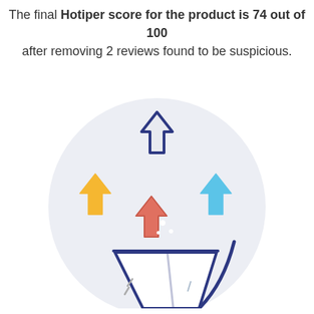The final Hotiper score for the product is 74 out of 100 after removing 2 reviews found to be suspicious.
[Figure (illustration): Illustration showing multiple colored downward arrows (dark blue/hollow, yellow, light blue, red/salmon) falling into a funnel/filter glass with a straw, set on a light grey circular background. Represents filtering of suspicious reviews.]